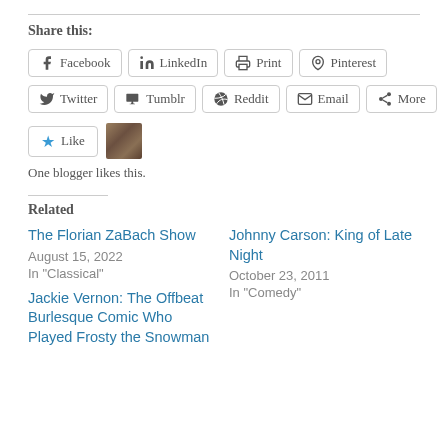Share this:
Facebook
LinkedIn
Print
Pinterest
Twitter
Tumblr
Reddit
Email
More
One blogger likes this.
Related
The Florian ZaBach Show
August 15, 2022
In "Classical"
Johnny Carson: King of Late Night
October 23, 2011
In "Comedy"
Jackie Vernon: The Offbeat Burlesque Comic Who Played Frosty the Snowman